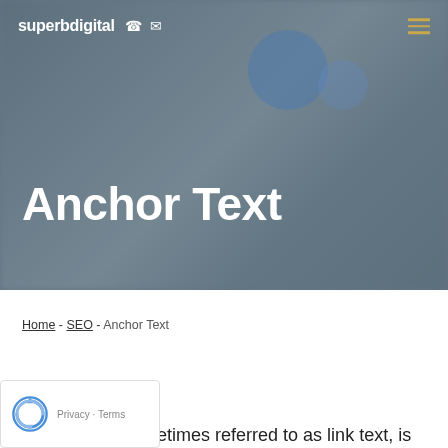[Figure (screenshot): Hero banner with blurred background image of an office/room scene with blue and grey tones]
superbdigital ☎ ✉
Anchor Text
Home - SEO - Anchor Text
[Figure (logo): reCAPTCHA badge with spinning arrows logo and Privacy - Terms text]
Anchor text, sometimes referred to as link text, is